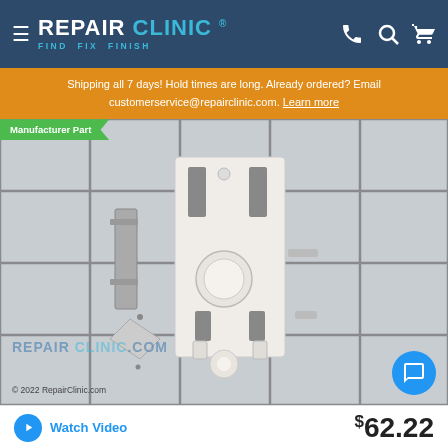REPAIR CLINIC — FIND FIX FINISH — Navigation header with phone, search, cart icons
Shipping all 7 days! Hold times are long. Already ordered? Email customerservice@repairclinic.com. Learn more
[Figure (photo): Product photo of a white plastic appliance part (likely a door latch or bracket with a round button/roller) on a grid background. Green 'Manufacturer Part' tag in top left. RepairClinic.com watermark overlaid. Copyright 2022 RepairClinic.com shown at bottom left.]
Watch Video
$62.22